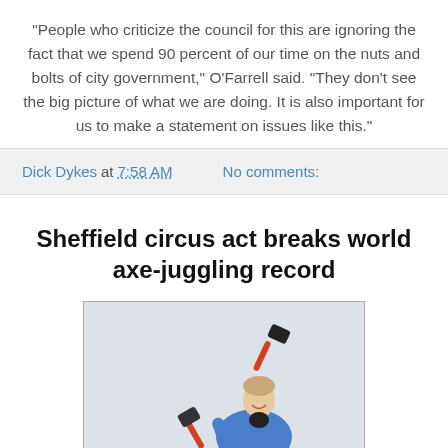“People who criticize the council for this are ignoring the fact that we spend 90 percent of our time on the nuts and bolts of city government,” O’Farrell said. “They don’t see the big picture of what we are doing. It is also important for us to make a statement on issues like this.”
Dick Dykes at 7:58 AM   No comments:
Sheffield circus act breaks world axe-juggling record
[Figure (photo): A man in a blue jacket juggling axes/hammers with red and black handles against a light background]